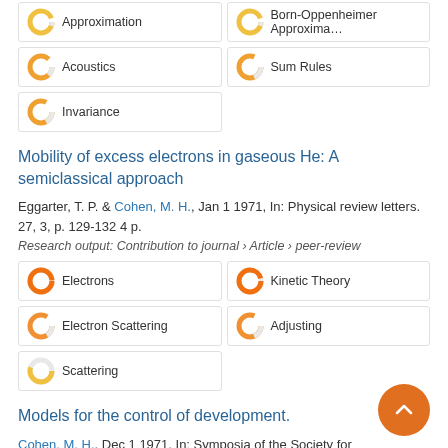Approximation
Born-Oppenheimer Approximation
Acoustics
Sum Rules
Invariance
Mobility of excess electrons in gaseous He: A semiclassical approach
Eggarter, T. P. & Cohen, M. H., Jan 1 1971, In: Physical review letters. 27, 3, p. 129-132 4 p.
Research output: Contribution to journal › Article › peer-review
Electrons
Kinetic Theory
Electron Scattering
Adjusting
Scattering
Models for the control of development.
Cohen, M. H., Dec 1 1971, In: Symposia of the Society for Experimental Biology. 25, p. 455-476 22 p.